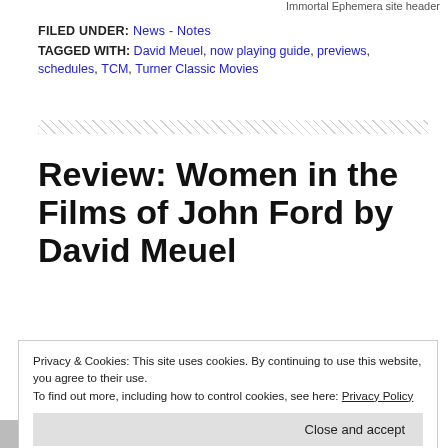Immortal Ephemera site header
FILED UNDER: News - Notes
TAGGED WITH: David Meuel, now playing guide, previews, schedules, TCM, Turner Classic Movies
Review: Women in the Films of John Ford by David Meuel
Privacy & Cookies: This site uses cookies. By continuing to use this website, you agree to their use. To find out more, including how to control cookies, see here: Privacy Policy
Close and accept
excellent volume, Women in the